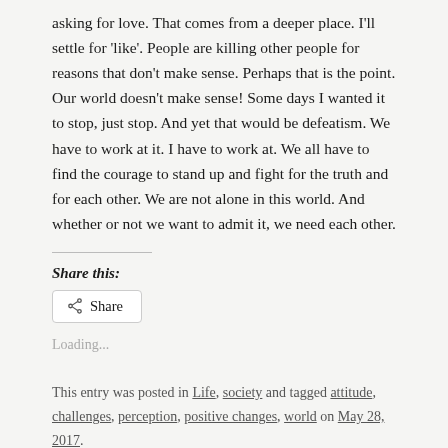asking for love. That comes from a deeper place. I'll settle for 'like'. People are killing other people for reasons that don't make sense. Perhaps that is the point. Our world doesn't make sense! Some days I wanted it to stop, just stop. And yet that would be defeatism. We have to work at it. I have to work at. We all have to find the courage to stand up and fight for the truth and for each other. We are not alone in this world. And whether or not we want to admit it, we need each other.
Share this:
Share
Loading...
This entry was posted in Life, society and tagged attitude, challenges, perception, positive changes, world on May 28, 2017.